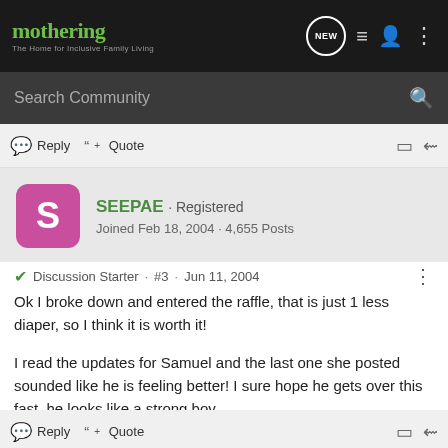mothering · The Home for Inclusive Family Living
Search Community
Reply  Quote
SEEPAE · Registered
Joined Feb 18, 2004 · 4,655 Posts
Discussion Starter · #3 · Jun 11, 2004
Ok I broke down and entered the raffle, that is just 1 less diaper, so I think it is worth it!

I read the updates for Samuel and the last one she posted sounded like he is feeling better! I sure hope he gets over this fast, he looks like a strong boy.
Reply  Quote